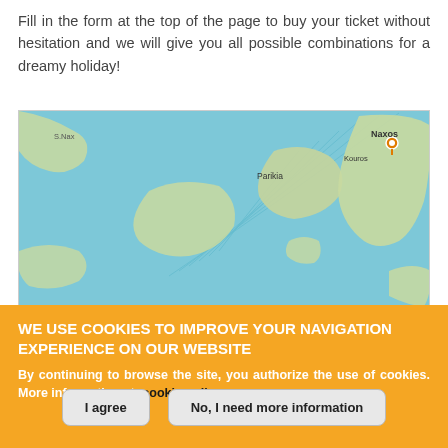Fill in the form at the top of the page to buy your ticket without hesitation and we will give you all possible combinations for a dreamy holiday!
[Figure (map): Map showing Greek islands including Naxos (marked with an orange pin), Parikia, Koufonisia (Kouros), and surrounding Aegean Sea. The sea is light blue with curved route lines. Islands are shown in green/beige.]
WE USE COOKIES TO IMPROVE YOUR NAVIGATION EXPERIENCE ON OUR WEBSITE
By continuing to browse the site, you authorize the use of cookies. More information at: cookie policy
I agree
No, I need more information